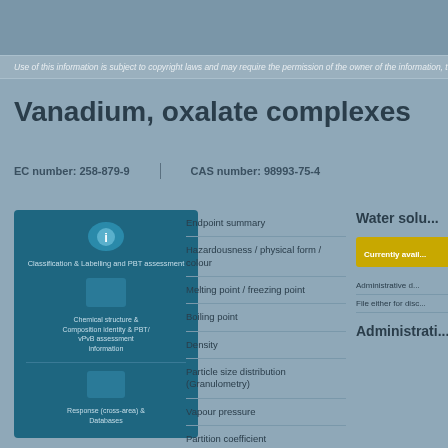Use of this information is subject to copyright laws and may require the permission of the owner of the information, translated only with the owner's consent.
Vanadium, oxalate complexes
EC number: 258-879-9   CAS number: 98993-75-4
[Figure (infographic): Blue information box with icons for regulatory and classification information, chemical structure, and database links]
Endpoint summary
Hazardousness / physical form / colour
Melting point / freezing point
Boiling point
Density
Particle size distribution (Granulometry)
Vapour pressure
Partition coefficient
Water solu...
Currently avail...
Administrative d...
File either for disc...
Administrati...